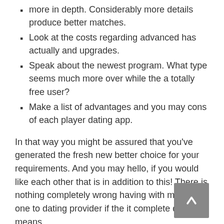more in depth. Considerably more details produce better matches.
Look at the costs regarding advanced has actually and upgrades.
Speak about the newest program. What type seems much more over while the a totally free user?
Make a list of advantages and you may cons of each player dating app.
In that way you might be assured that you've generated the fresh new better choice for your requirements. And you may hello, if you would like each other that is in addition to this! There is nothing completely wrong having with more than one to dating provider if the it complete different means.
14 Relationships Websites and you may